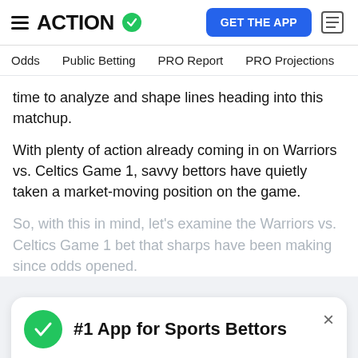ACTION (logo with checkmark) — GET THE APP button
Odds | Public Betting | PRO Report | PRO Projections
time to analyze and shape lines heading into this matchup.
With plenty of action already coming in on Warriors vs. Celtics Game 1, savvy bettors have quietly taken a market-moving position on the game.
So, with this in mind, let's examine the Warriors vs. Celtics Game 1 bet that sharps have been making since odds opened.
[Figure (infographic): #1 App for Sports Bettors CTA card with green checkmark, close button, Action logo watermark, and GET FREE APP green button]
Unlock the Reporting